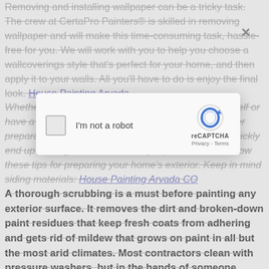Removing and installing wallpaper can be a tricky task. The crew at CertaPro Painters® is skilled in removing wallpaper and will make this time-consuming task, hassle-free for you. We will work with you to help you choose a wallcoverings style that's perfect for your home, and then apply it to your walls. All you'll have to do is enjoy the final look. House Painting Arvada
Whether you decide to do the preparation work yourself or have a professional do it as part of your project, proper preparation is essential to a good paint job that will quickly end up looking like it was done by a professional. Follow these tips for preparing your home's exterior. Keep in mind siding materials: House Painting Arvada CO
A thorough scrubbing is a must before painting any exterior surface. It removes the dirt and broken-down paint residues that keep fresh coats from adhering and gets rid of mildew that grows on paint in all but the most arid climates. Most contractors clean with pressure washers, but in the hands of someone unfamiliar with the equipment, these can gouge wood, shatter glass, and drive water behind siding and trim. Using a hose, a pump sprayer, and a scrub brush is slower but safer, and just as effective. House Painting Arvada
[Figure (screenshot): reCAPTCHA modal dialog with 'I'm not a robot' checkbox and reCAPTCHA logo showing Privacy and Terms links]